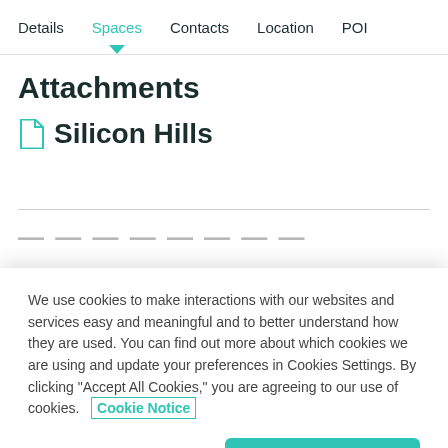Details  Spaces  Contacts  Location  POI
Attachments
Silicon Hills
We use cookies to make interactions with our websites and services easy and meaningful and to better understand how they are used. You can find out more about which cookies we are using and update your preferences in Cookies Settings. By clicking "Accept All Cookies," you are agreeing to our use of cookies.   Cookie Notice
Cookies Settings   Accept All Cookies